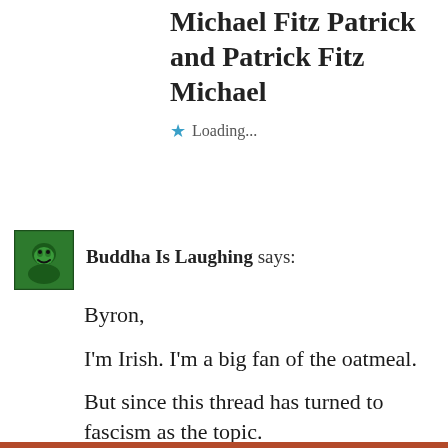Michael Fitz Patrick and Patrick Fitz Michael
★ Loading...
Buddha Is Laughing says:
Byron,

I'm Irish. I'm a big fan of the oatmeal.

But since this thread has turned to fascism as the topic.